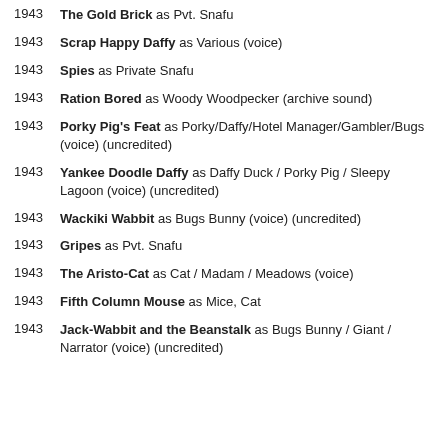1943 The Gold Brick as Pvt. Snafu
1943 Scrap Happy Daffy as Various (voice)
1943 Spies as Private Snafu
1943 Ration Bored as Woody Woodpecker (archive sound)
1943 Porky Pig's Feat as Porky/Daffy/Hotel Manager/Gambler/Bugs (voice) (uncredited)
1943 Yankee Doodle Daffy as Daffy Duck / Porky Pig / Sleepy Lagoon (voice) (uncredited)
1943 Wackiki Wabbit as Bugs Bunny (voice) (uncredited)
1943 Gripes as Pvt. Snafu
1943 The Aristo-Cat as Cat / Madam / Meadows (voice)
1943 Fifth Column Mouse as Mice, Cat
1943 Jack-Wabbit and the Beanstalk as Bugs Bunny / Giant / Narrator (voice) (uncredited)